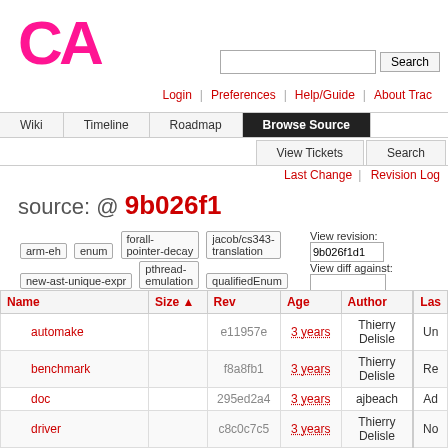[Figure (logo): CA logo in pink/magenta color, large bold letters]
Login | Preferences | Help/Guide | About Trac
Wiki | Timeline | Roadmap | Browse Source | View Tickets | Search
Last Change | Revision Log
source: @ 9b026f1
arm-eh  enum  forall-pointer-decay  jacob/cs343-translation  new-ast-unique-expr  pthread-emulation  qualifiedEnum
View revision: 9b026f1d1   View diff against:   Visit:
| Name | Size | Rev | Age | Author | Las |
| --- | --- | --- | --- | --- | --- |
| automake |  | e11957e | 3 years | Thierry Delisle | Un |
| benchmark |  | f8a8fb1 | 3 years | Thierry Delisle | Re |
| doc |  | 295ed2a4 | 3 years | ajbeach | Ad |
| driver |  | c8c0c7c5 | 3 years | Thierry Delisle | No |
| examples |  | 033ff37 | 3 years | pabuhr | rem |
| Jenkins |  | b4a573c | 3 years | Thierry Delisle | Fix |
| lib... |  | e1f5776 | 3 years | Thierry Delisle | ... |